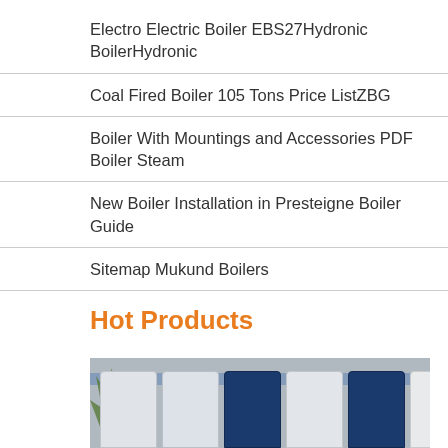Electro Electric Boiler EBS27Hydronic BoilerHydronic
Coal Fired Boiler 105 Tons Price ListZBG
Boiler With Mountings and Accessories PDF Boiler Steam
New Boiler Installation in Presteigne Boiler Guide
Sitemap Mukund Boilers
Hot Products
[Figure (photo): Photograph of industrial boiler units lined up against a grey wall with foliage visible on the left side. The boilers are white and dark blue in color.]